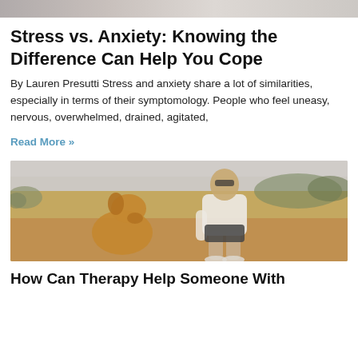[Figure (photo): Top portion of a photo, partially cropped, showing what appears to be people in a light-colored indoor or outdoor setting]
Stress vs. Anxiety: Knowing the Difference Can Help You Cope
By Lauren Presutti Stress and anxiety share a lot of similarities, especially in terms of their symptomology. People who feel uneasy, nervous, overwhelmed, drained, agitated,
Read More »
[Figure (photo): A man with sunglasses in a white t-shirt and dark shorts sitting outdoors on sandy/rocky ground next to a golden retriever dog, with bushes and overcast sky in the background]
How Can Therapy Help Someone With